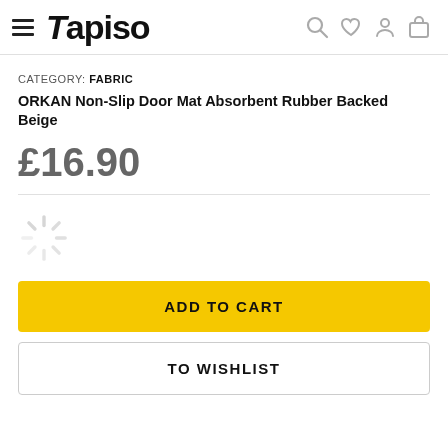Tapiso — navigation header with menu, logo, and icons
CATEGORY: FABRIC
ORKAN Non-Slip Door Mat Absorbent Rubber Backed Beige
£16.90
[Figure (other): Loading spinner icon]
ADD TO CART
TO WISHLIST